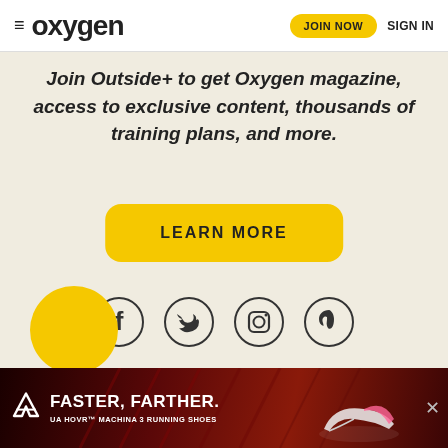oxygen — JOIN NOW  SIGN IN
Join Outside+ to get Oxygen magazine, access to exclusive content, thousands of training plans, and more.
LEARN MORE
[Figure (illustration): Social media icons in circles: Facebook, Twitter, Instagram, Pinterest]
[Figure (illustration): Under Armour advertisement banner: FASTER, FARTHER. UA HOVR MACHINA 3 RUNNING SHOES]
[Figure (illustration): Partial yellow circle visible at bottom left]